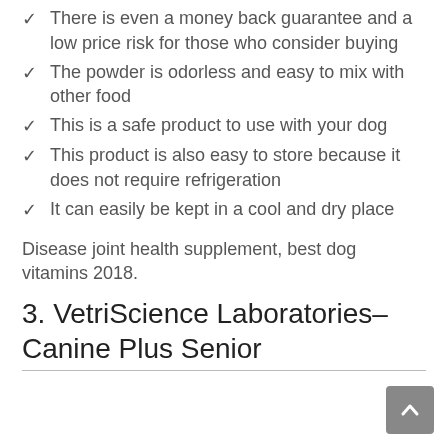There is even a money back guarantee and a low price risk for those who consider buying
The powder is odorless and easy to mix with other food
This is a safe product to use with your dog
This product is also easy to store because it does not require refrigeration
It can easily be kept in a cool and dry place
Disease joint health supplement, best dog vitamins 2018.
3. VetriScience Laboratories– Canine Plus Senior